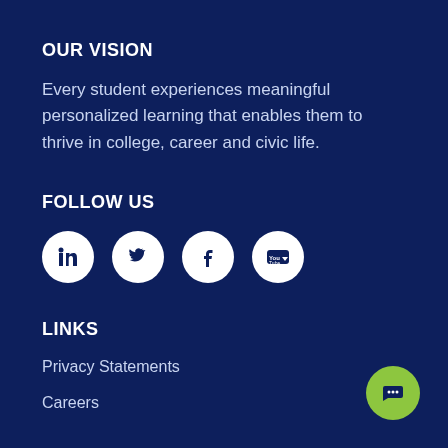OUR VISION
Every student experiences meaningful personalized learning that enables them to thrive in college, career and civic life.
FOLLOW US
[Figure (infographic): Four white circular social media icons on dark blue background: LinkedIn, Twitter, Facebook, YouTube]
LINKS
Privacy Statements
Careers